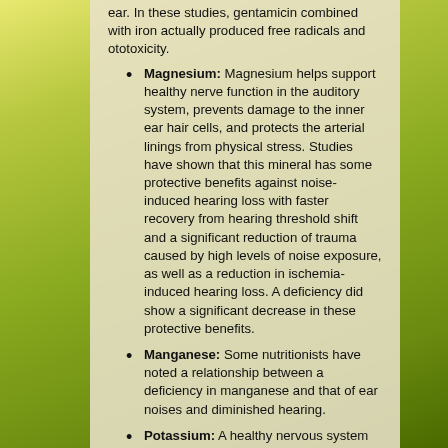ear. In these studies, gentamicin combined with iron actually produced free radicals and ototoxicity.
Magnesium: Magnesium helps support healthy nerve function in the auditory system, prevents damage to the inner ear hair cells, and protects the arterial linings from physical stress. Studies have shown that this mineral has some protective benefits against noise-induced hearing loss with faster recovery from hearing threshold shift and a significant reduction of trauma caused by high levels of noise exposure, as well as a reduction in ischemia-induced hearing loss. A deficiency did show a significant decrease in these protective benefits.
Manganese: Some nutritionists have noted a relationship between a deficiency in manganese and that of ear noises and diminished hearing.
Potassium: A healthy nervous system